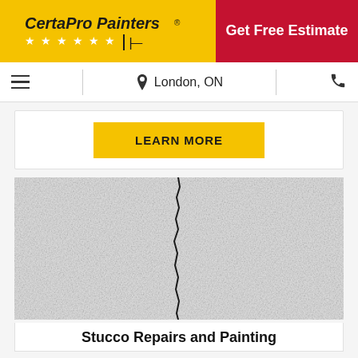[Figure (logo): CertaPro Painters logo with yellow background, stars and brush icon]
Get Free Estimate
London, ON
LEARN MORE
[Figure (photo): Close-up photo of a cracked white stucco wall with a vertical crack running through the center]
Stucco Repairs and Painting